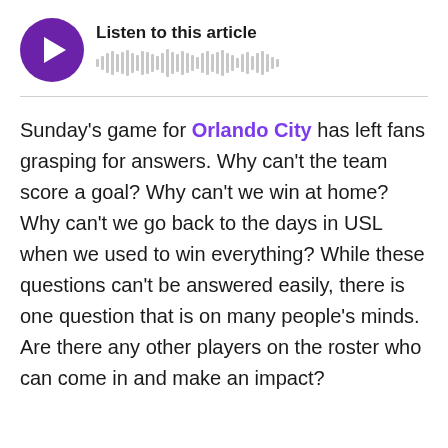[Figure (other): Audio player widget with purple circular play button and waveform visualization, with title 'Listen to this article']
Sunday's game for Orlando City has left fans grasping for answers. Why can't the team score a goal? Why can't we win at home? Why can't we go back to the days in USL when we used to win everything? While these questions can't be answered easily, there is one question that is on many people's minds. Are there any other players on the roster who can come in and make an impact?